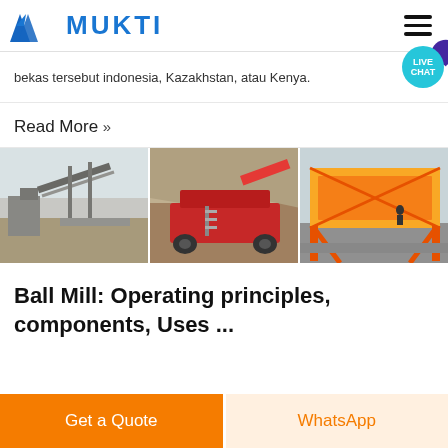MUKTI
bekas tersebut indonesia, Kazakhstan, atau Kenya.
Read More »
[Figure (photo): Three mining/crushing equipment photos side by side: left shows a conveyor and mill system, center shows a red mobile crusher in a quarry, right shows a yellow screening/conveyor structure.]
Ball Mill: Operating principles, components, Uses ...
Get a Quote
WhatsApp